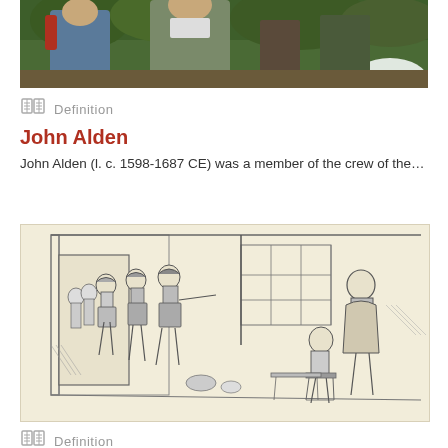[Figure (illustration): Colorful illustration showing historical figures in colonial-era clothing, partially cropped at top of page]
Definition
John Alden
John Alden (l. c. 1598-1687 CE) was a member of the crew of the…
[Figure (illustration): Black and white pen sketch showing colonial-era scene with soldiers or pilgrims entering a building, and figures seated at right]
Definition